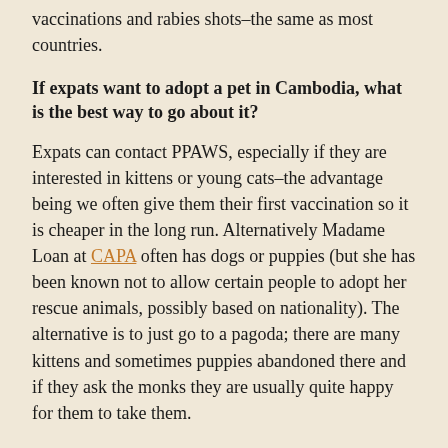vaccinations and rabies shots–the same as most countries.
If expats want to adopt a pet in Cambodia, what is the best way to go about it?
Expats can contact PPAWS, especially if they are interested in kittens or young cats–the advantage being we often give them their first vaccination so it is cheaper in the long run. Alternatively Madame Loan at CAPA often has dogs or puppies (but she has been known not to allow certain people to adopt her rescue animals, possibly based on nationality). The alternative is to just go to a pagoda; there are many kittens and sometimes puppies abandoned there and if they ask the monks they are usually quite happy for them to take them.
What should expats consider before they adopt a pet in Cambodia?